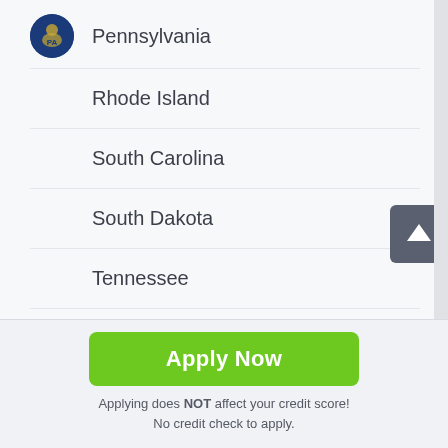Pennsylvania
Rhode Island
South Carolina
South Dakota
Tennessee
Texas
Apply Now
Applying does NOT affect your credit score! No credit check to apply.